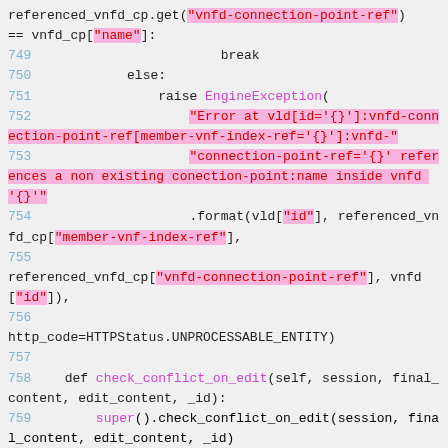Code block showing Python source lines 749-761 with syntax highlighting